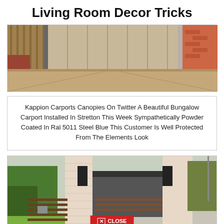Living Room Decor Tricks
[Figure (photo): A wide carport or garage entrance with wooden fencing panels, brick walls, and a gravel/aggregate driveway surface.]
Kappion Carports Canopies On Twitter A Beautiful Bungalow Carport Installed In Stretton This Week Sympathetically Powder Coated In Ral 5011 Steel Blue This Customer Is Well Protected From The Elements Look
[Figure (photo): A modern carport attached to a white/light-pink brick house with a dark roof, horizontal wood fencing, and a close button overlay at the bottom.]